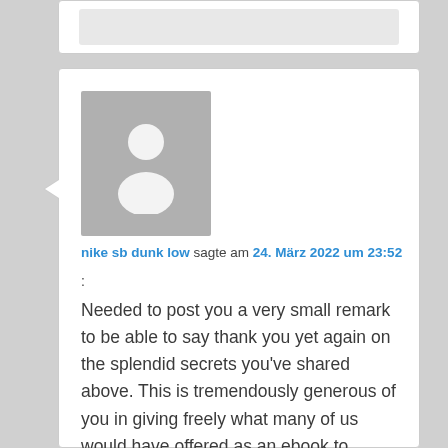[Figure (other): Partial comment block at top of page, partially cropped]
nike sb dunk low sagte am 24. März 2022 um 23:52
:
Needed to post you a very small remark to be able to say thank you yet again on the splendid secrets you've shared above. This is tremendously generous of you in giving freely what many of us would have offered as an ebook to generate some bucks for their own end, and in particular considering the fact that you might well have tried it if you ever considered necessary. These smart ideas additionally served like a easy way to realize that someone else have the same eagerness just like my own to understand a great deal more on the topic of this matter. I am certain there are